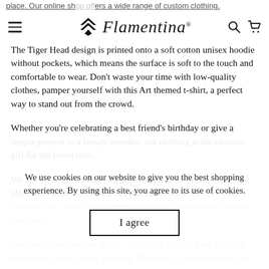place. Our online shop offers a wide range of custom clothing. [Flamentina® logo with navigation icons]
The Tiger Head design is printed onto a soft cotton unisex hoodie without pockets, which means the surface is soft to the touch and comfortable to wear. Don't waste your time with low-quality clothes, pamper yourself with this Art themed t-shirt, a perfect way to stand out from the crowd.
Whether you're celebrating a best friend's birthday or give a simple present to a family member, our clothing is the ultimate gift for the loved ones.
We have a large number of garment options to fit all people. We offer sizes from S to 5XL and other options like short or long sleeved, kids, mens and womens fit t-shirts, sweatshirts, hoodies and more.
We use cookies on our website to give you the best shopping experience. By using this site, you agree to its use of cookies.
Our shop offers unique designs with high quality print that will not fade in the sun and will last even after washing. Our team of professionals are always ready to support you with advice or any...